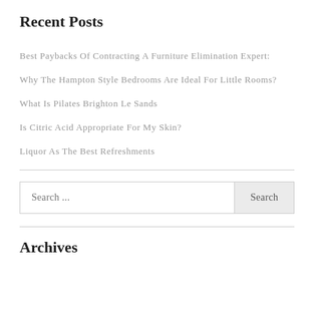Recent Posts
Best Paybacks Of Contracting A Furniture Elimination Expert:
Why The Hampton Style Bedrooms Are Ideal For Little Rooms?
What Is Pilates Brighton Le Sands
Is Citric Acid Appropriate For My Skin?
Liquor As The Best Refreshments
Search ...
Archives